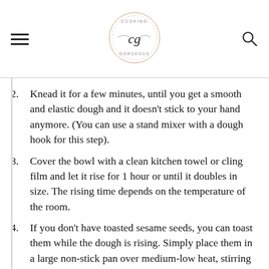Cooking Gorgeous logo with hamburger menu and search icon
2. Knead it for a few minutes, until you get a smooth and elastic dough and it doesn't stick to your hand anymore. (You can use a stand mixer with a dough hook for this step).
3. Cover the bowl with a clean kitchen towel or cling film and let it rise for 1 hour or until it doubles in size. The rising time depends on the temperature of the room.
4. If you don't have toasted sesame seeds, you can toast them while the dough is rising. Simply place them in a large non-stick pan over medium-low heat, stirring